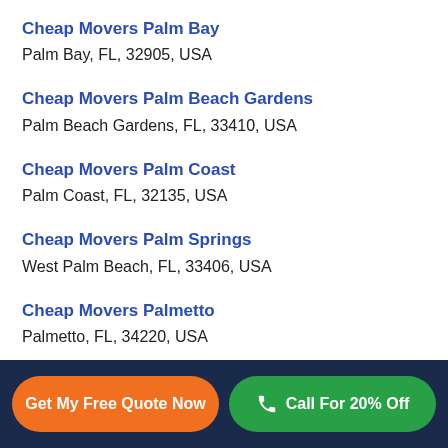Cheap Movers Palm Bay
Palm Bay, FL, 32905, USA
Cheap Movers Palm Beach Gardens
Palm Beach Gardens, FL, 33410, USA
Cheap Movers Palm Coast
Palm Coast, FL, 32135, USA
Cheap Movers Palm Springs
West Palm Beach, FL, 33406, USA
Cheap Movers Palmetto
Palmetto, FL, 34220, USA
Cheap Movers Palmetto Bay
Palmetto Bay, FL, 33157, USA
Cheap Movers Panama City
Get My Free Quote Now
Call For 20% Off